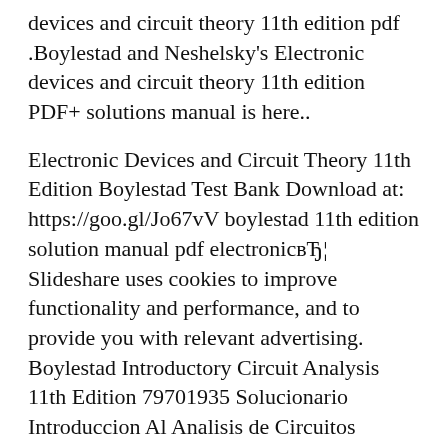devices and circuit theory 11th edition pdf .Boylestad and Neshelsky's Electronic devices and circuit theory 11th edition PDF+ solutions manual is here..
Electronic Devices and Circuit Theory 11th Edition Boylestad Test Bank Download at: https://goo.gl/Jo67vV boylestad 11th edition solution manual pdf electronicвЂ¦ Slideshare uses cookies to improve functionality and performance, and to provide you with relevant advertising. Boylestad Introductory Circuit Analysis 11th Edition 79701935 Solucionario Introduccion Al Analisis de Circuitos Boylestad 11 Edicion Solution Manual Introductory Circuit Analysis Boylestad 11th Edition.pdf. Chapter 8: Methods of Analysis and Selected Topics (dc)